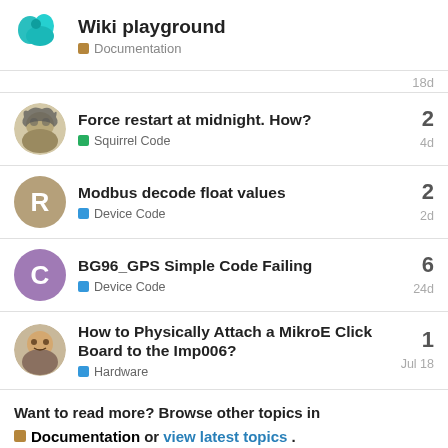Wiki playground — Documentation
18d
Force restart at midnight. How? — Squirrel Code — 2 — 4d
Modbus decode float values — Device Code — 2 — 2d
BG96_GPS Simple Code Failing — Device Code — 6 — 24d
How to Physically Attach a MikroE Click Board to the Imp006? — Hardware — 1 — Jul 18
Want to read more? Browse other topics in Documentation or view latest topics.